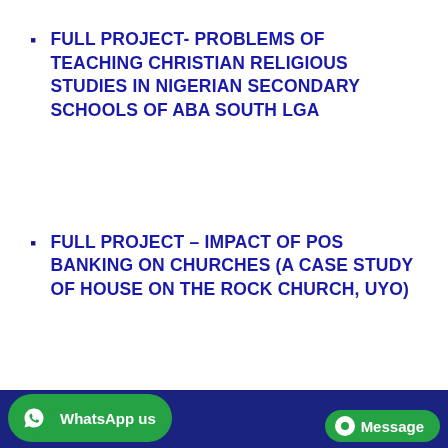FULL PROJECT- PROBLEMS OF TEACHING CHRISTIAN RELIGIOUS STUDIES IN NIGERIAN SECONDARY SCHOOLS OF ABA SOUTH LGA
FULL PROJECT – IMPACT OF POS BANKING ON CHURCHES (A CASE STUDY OF HOUSE ON THE ROCK CHURCH, UYO)
FULL PROJECT – THE ROLE OF THE CHURCH IN SUSTAINING PEACE IN NIGERIA ( A